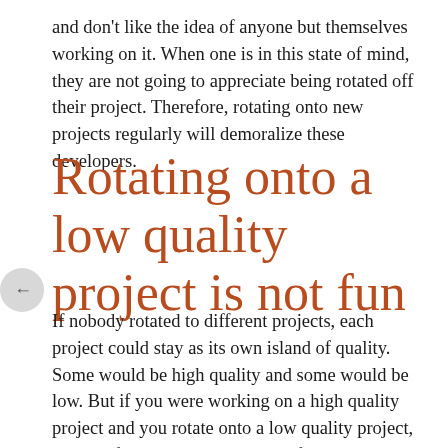and don't like the idea of anyone but themselves working on it. When one is in this state of mind, they are not going to appreciate being rotated off their project. Therefore, rotating onto new projects regularly will demoralize these developers.
Rotating onto a low quality project is not fun
If nobody rotated to different projects, each project could stay as its own island of quality. Some would be high quality and some would be low. But if you were working on a high quality project and you rotate onto a low quality project, this can feel like a downgrade. Of course, others may see it as an